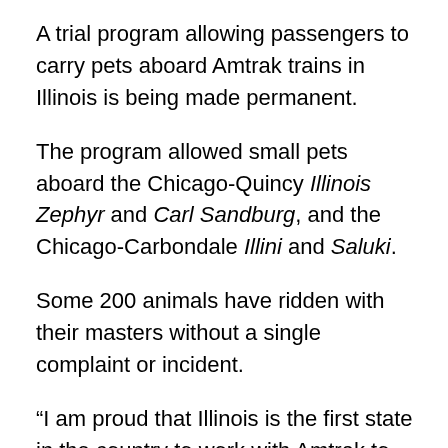A trial program allowing passengers to carry pets aboard Amtrak trains in Illinois is being made permanent.
The program allowed small pets aboard the Chicago-Quincy Illinois Zephyr and Carl Sandburg, and the Chicago-Carbondale Illini and Saluki.
Some 200 animals have ridden with their masters without a single complaint or incident.
“I am proud that Illinois is the first state in the country to work with Amtrak to offer this convenient service for pet owners, while also taking into account the considerations of other passengers,” said acting IDOT Secretary Randy Blankenhorn. “By allowing pets on trains, Amtrak and the Illinois Department of Transportation are making it that much easier for people to experience so many of our great